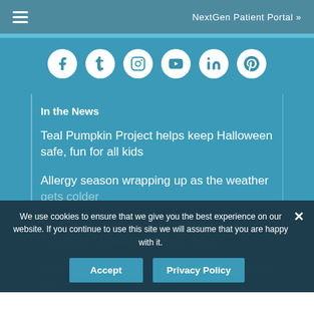NextGen Patient Portal »
[Figure (infographic): Social media icons row: Facebook, Tumblr, Instagram, YouTube, LinkedIn, Pinterest — white circles on teal background]
In the News
Teal Pumpkin Project helps keep Halloween safe, fun for all kids
Allergy season wrapping up as the weather gets colder
New Peanut Allergy Treatment Research Treatment Available in La Crosse
Dr. Mary Morris on "The Smartest Doctor in the
We use cookies to ensure that we give you the best experience on our website. If you continue to use this site we will assume that you are happy with it.